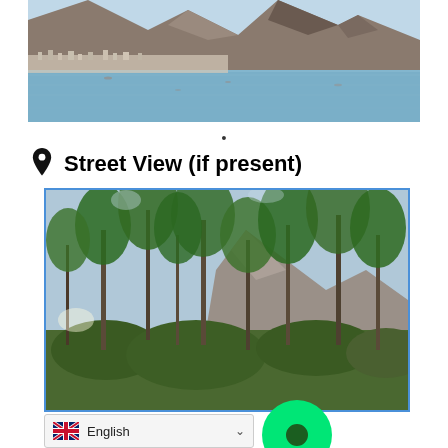[Figure (photo): Aerial/distant view of a coastal town with a large rocky mountain/cliff rising behind it, water in the foreground reflecting the scene, blue sky]
•
Street View (if present)
[Figure (photo): Street view photo showing tall pine/Mediterranean trees in a park or forested area, with a rocky mountain visible in the background. Green circle with dark center overlay in lower right area. Blue border around the image.]
English